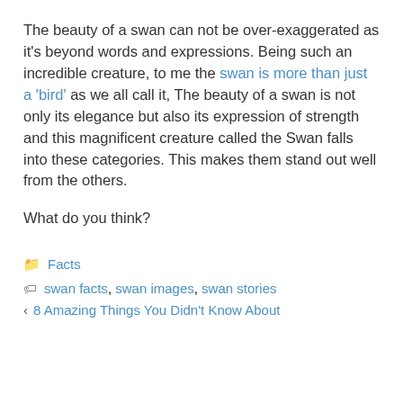The beauty of a swan can not be over-exaggerated as it's beyond words and expressions. Being such an incredible creature, to me the swan is more than just a 'bird' as we all call it, The beauty of a swan is not only its elegance but also its expression of strength and this magnificent creature called the Swan falls into these categories. This makes them stand out well from the others.
What do you think?
Facts
swan facts, swan images, swan stories
8 Amazing Things You Didn't Know About